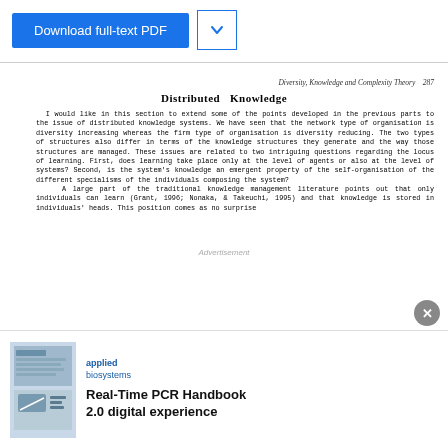[Figure (screenshot): Download full-text PDF button and chevron dropdown button in blue]
Diversity, Knowledge and Complexity Theory   287
Distributed  Knowledge
I would like in this section to extend some of the points developed in the previous parts to the issue of distributed knowledge systems. We have seen that the network type of organisation is diversity increasing whereas the firm type of organisation is diversity reducing. The two types of structures also differ in terms of the knowledge structures they generate and the way those structures are managed. These issues are related to two intriguing questions regarding the locus of learning. First, does learning take place only at the level of agents or also at the level of systems? Second, is the system's knowledge an emergent property of the self-organisation of the different specialisms of the individuals composing the system?
  A large part of the traditional knowledge management literature points out that only individuals can learn (Grant, 1996; Nonaka, & Takeuchi, 1995) and that knowledge is stored in individuals' heads. This position comes as no surprise
[Figure (screenshot): Advertisement banner: Applied Biosystems logo with Real-Time PCR Handbook 2.0 digital experience promotional image]